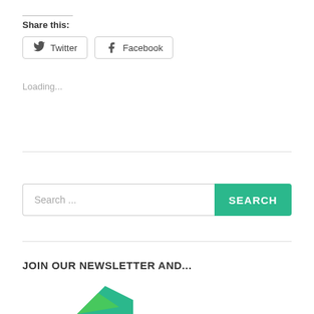Share this:
Twitter
Facebook
Loading...
Search ...
JOIN OUR NEWSLETTER AND...